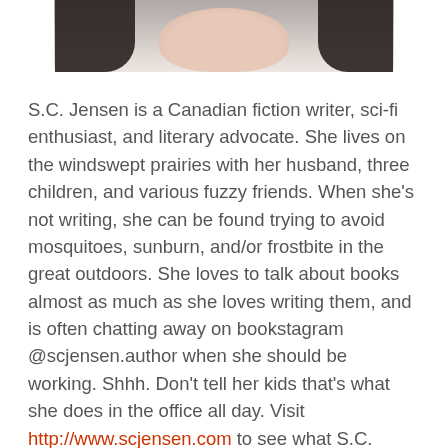[Figure (photo): Partial photo of a person with dark hair, cropped to show the lower portion of a face and hair against a light background]
S.C. Jensen is a Canadian fiction writer, sci-fi enthusiast, and literary advocate. She lives on the windswept prairies with her husband, three children, and various fuzzy friends. When she's not writing, she can be found trying to avoid mosquitoes, sunburn, and/or frostbite in the great outdoors. She loves to talk about books almost as much as she loves writing them, and is often chatting away on bookstagram @scjensen.author when she should be working. Shhh. Don't tell her kids that's what she does in the office all day. Visit http://www.scjensen.com to see what S.C. Jensen is up to. Sign up to the VIP Reader's Club to get free books and special deals on new releases!